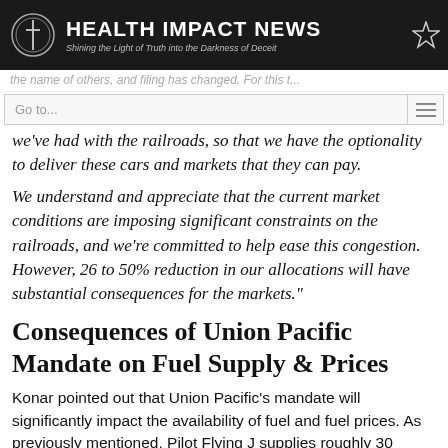HEALTH IMPACT NEWS — Shining the Light of Truth into the Darkness of Deceit
the name of others, and filing has changed. For this t...
Go to...
we've had with the railroads, so that we have the optionality to deliver these cars and markets that they can pay.
We understand and appreciate that the current market conditions are imposing significant constraints on the railroads, and we're committed to help ease this congestion. However, 26 to 50% reduction in our allocations will have substantial consequences for the markets."
Consequences of Union Pacific Mandate on Fuel Supply & Prices
Konar pointed out that Union Pacific's mandate will significantly impact the availability of fuel and fuel prices. As previously mentioned, Pilot Flying J supplies roughly 30 percent of the DEF in the country.